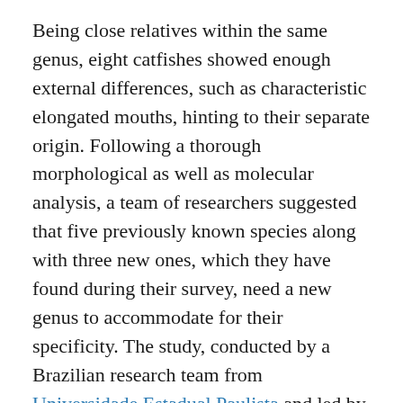Being close relatives within the same genus, eight catfishes showed enough external differences, such as characteristic elongated mouths, hinting to their separate origin. Following a thorough morphological as well as molecular analysis, a team of researchers suggested that five previously known species along with three new ones, which they have found during their survey, need a new genus to accommodate for their specificity. The study, conducted by a Brazilian research team from Universidade Estadual Paulista and led by Dr. Fabio F. Roxo, is available in the open-access journal ZooKeys.
Among other physical peculiarities, the longer